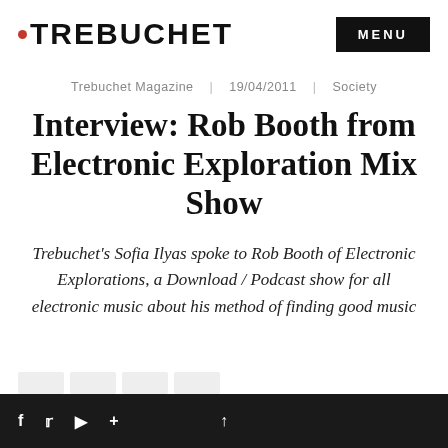TREBUCHET | MENU
Trebuchet Magazine | 19/04/2011 | Society
Interview: Rob Booth from Electronic Exploration Mix Show
Trebuchet's Sofia Ilyas spoke to Rob Booth of Electronic Explorations, a Download / Podcast show for all electronic music about his method of finding good music
f  twitter  youtube  +  ↑